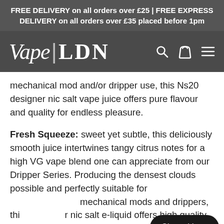FREE DELIVERY on all orders over £25 | FREE EXPRESS DELIVERY on all orders over £35 placed before 1pm
[Figure (logo): Vape LDN logo with search, cart, and menu icons on dark grey navigation bar]
mechanical mod and/or dripper use, this Ns20 designer nic salt vape juice offers pure flavour and quality for endless pleasure.
Fresh Squeeze: sweet yet subtle, this deliciously smooth juice intertwines tangy citrus notes for a high VG vape blend one can appreciate from our Dripper Series. Producing the densest clouds possible and perfectly suitable for mechanical mods and drippers, thi... nic salt e-liquid offers high quality flavour for